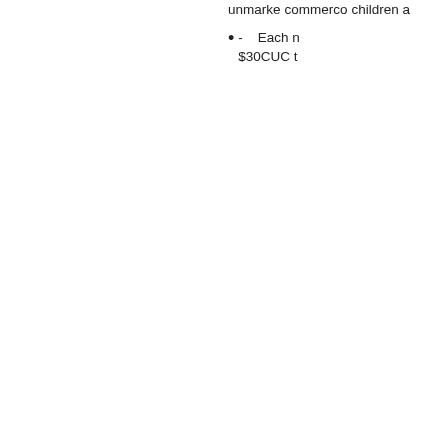unmarke commerc children a
- Each n $30CUC t